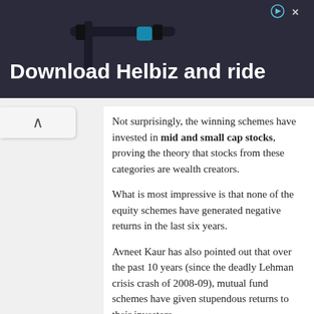[Figure (photo): Advertisement banner for Helbiz scooter app showing bicycle/scooter handlebars with text 'Download Helbiz and ride']
Not surprisingly, the winning schemes have invested in mid and small cap stocks, proving the theory that stocks from these categories are wealth creators.
What is most impressive is that none of the equity schemes have generated negative returns in the last six years.
Avneet Kaur has also pointed out that over the past 10 years (since the deadly Lehman crisis crash of 2008-09), mutual fund schemes have given stupendous returns to their investors.
Three schemes including Canara Robeco Emerging Equities, Aditya Birla SL MNC